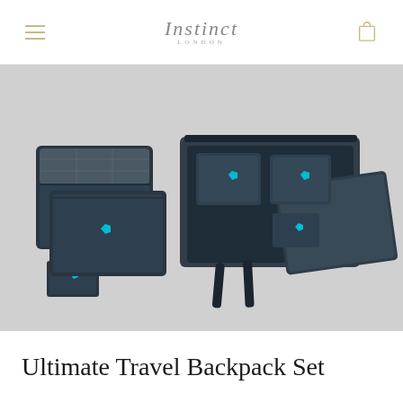Instinct LONDON
[Figure (photo): A set of dark navy blue travel packing cubes and organizers laid out, including a large cube with clear top, a medium cube, a small flat wallet, a medium flat pouch with teal logo badge, and an open travel backpack containing additional organizers with teal logo badges, along with a gray padded back panel.]
Ultimate Travel Backpack Set